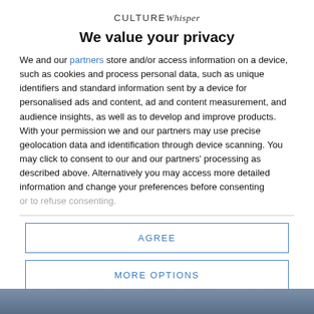CULTURE Whisper
We value your privacy
We and our partners store and/or access information on a device, such as cookies and process personal data, such as unique identifiers and standard information sent by a device for personalised ads and content, ad and content measurement, and audience insights, as well as to develop and improve products. With your permission we and our partners may use precise geolocation data and identification through device scanning. You may click to consent to our and our partners' processing as described above. Alternatively you may access more detailed information and change your preferences before consenting or to refuse consenting.
AGREE
MORE OPTIONS